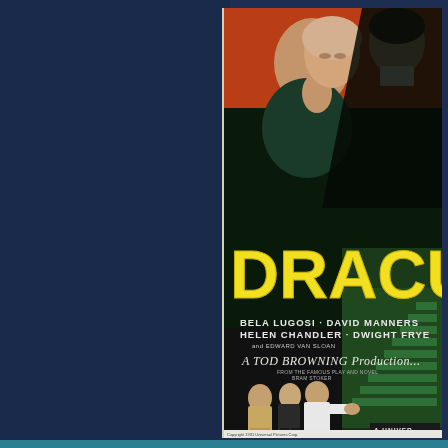[Figure (illustration): Classic Dracula movie poster (1931) showing Bela Lugosi as Dracula looming over a woman, with yellow 'DRACULA' title text, cast names including Bela Lugosi, David Manners, Helen Chandler, Dwight Frye, and Edward Van Sloan, 'A Tod Browning Production' credit, three men figures at bottom, glowing green staircase, on a dark blue textured background]